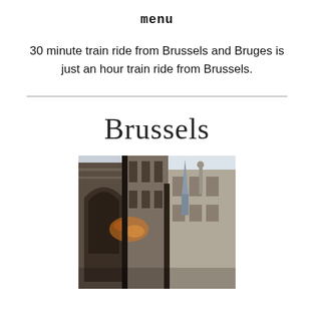menu
30 minute train ride from Brussels and Bruges is just an hour train ride from Brussels.
Brussels
[Figure (photo): Looking up at the narrow streets and tall ornate Gothic and classical buildings of Brussels, with arches on the left, a sculptural figure visible, and a church spire in the background against a cloudy sky. Orange light flare visible in the middle.]